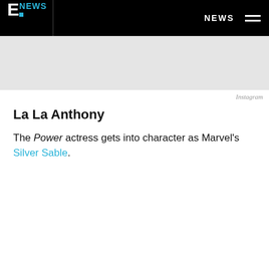E! NEWS  NEWS
[Figure (photo): Gray placeholder image area for an article photo]
Instagram
La La Anthony
The Power actress gets into character as Marvel's Silver Sable.